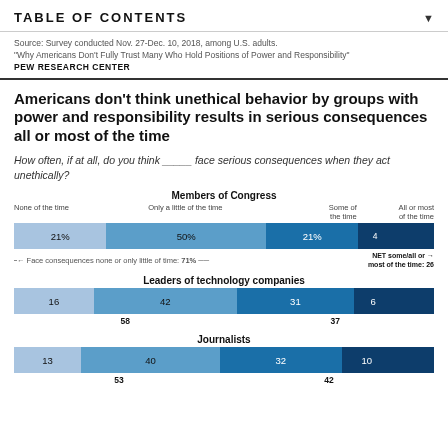TABLE OF CONTENTS
Source: Survey conducted Nov. 27-Dec. 10, 2018, among U.S. adults.
"Why Americans Don't Fully Trust Many Who Hold Positions of Power and Responsibility"
PEW RESEARCH CENTER
Americans don't think unethical behavior by groups with power and responsibility results in serious consequences all or most of the time
How often, if at all, do you think _____ face serious consequences when they act unethically?
[Figure (stacked-bar-chart): Members of Congress]